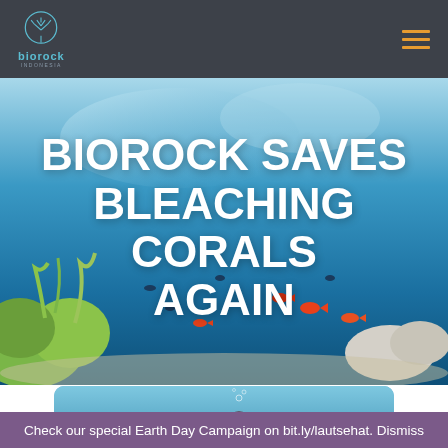biorock
[Figure (photo): Underwater coral reef scene with colorful fish, coral formations, and clear blue water serving as hero banner background]
BIOROCK SAVES BLEACHING CORALS AGAIN
[Figure (photo): Underwater scene with a scuba diver holding equipment, blue water background, shown in a rounded-corner card]
Check our special Earth Day Campaign on bit.ly/lautsehat. Dismiss